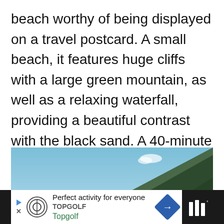beach worthy of being displayed on a travel postcard. A small beach, it features huge cliffs with a large green mountain, as well as a relaxing waterfall, providing a beautiful contrast with the black sand. A 40-minute drive from Funchal, the best way to get to Praia do Porto do Seixal is to rent a car as you won't be able to get here by bus.
[Figure (photo): Photograph of a steep green mountain/cliff against a blue sky with a small cloud, characteristic of Madeira island landscape near Praia do Porto do Seixal.]